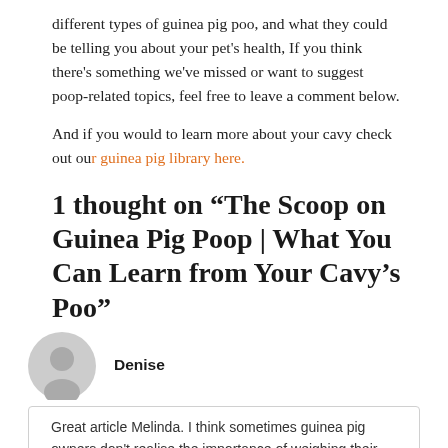different types of guinea pig poo, and what they could be telling you about your pet's health, If you think there's something we've missed or want to suggest poop-related topics, feel free to leave a comment below.
And if you would to learn more about your cavy check out our guinea pig library here.
1 thought on “The Scoop on Guinea Pig Poop | What You Can Learn from Your Cavy’s Poo”
Denise
Great article Melinda. I think sometimes guinea pig owners don’t realise the importance of weighing their guinea pig and the importance of checking their poo. It